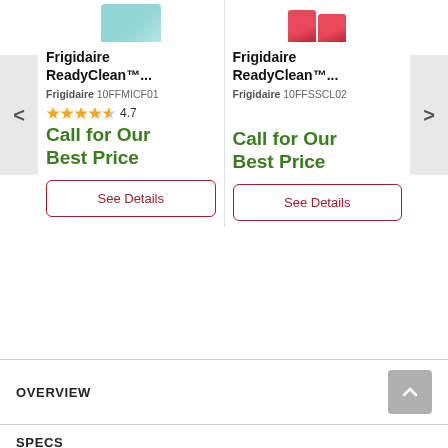[Figure (screenshot): Screenshot of a product listing page showing two Frigidaire ReadyClean products side by side with navigation arrows, ratings, prices, and buttons]
Frigidaire ReadyClean™...
Frigidaire 10FFMICF01
4.7
Call for Our Best Price
See Details
Frigidaire ReadyClean™...
Frigidaire 10FFSSCL02
Call for Our Best Price
See Details
OVERVIEW
SPECS